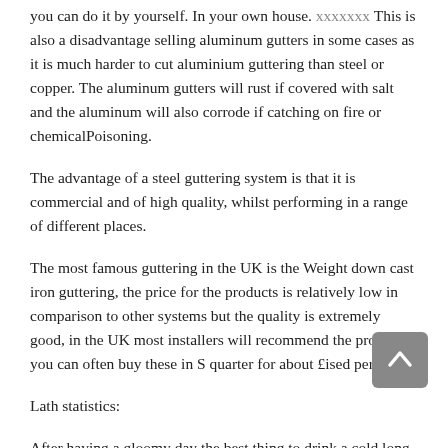you can do it by yourself. In your own house. xxxxxxx This is also a disadvantage selling aluminum gutters in some cases as it is much harder to cut aluminium guttering than steel or copper. The aluminum gutters will rust if covered with salt and the aluminum will also corrode if catching on fire or chemicalPoisoning.
The advantage of a steel guttering system is that it is commercial and of high quality, whilst performing in a range of different places.
The most famous guttering in the UK is the Weight down cast iron guttering, the price for the products is relatively low in comparison to other systems but the quality is extremely good, in the UK most installers will recommend the products, you can often buy these in S quarter for about £ised per ft.
Lath statistics:
After having a gloomy day the best thing to drink a cold long drink can be always have a chat with your partner. ภภภภภภภภภภภภ This is a tradition that has been passed down from one